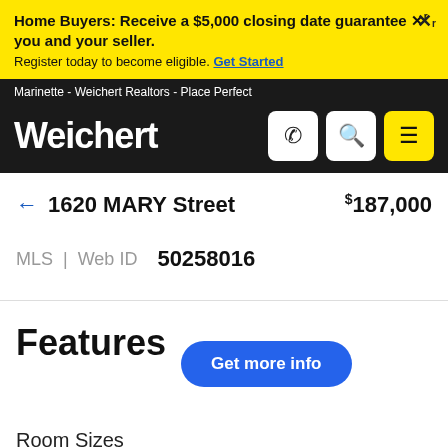Home Buyers: Receive a $5,000 closing date guarantee Xr you and your seller. Register today to become eligible. Get Started
Marinette - Weichert Realtors - Place Perfect
Weichert
← 1620 MARY Street   $187,000
MLS | Web ID   50258016
Features
Get more info
Room Sizes